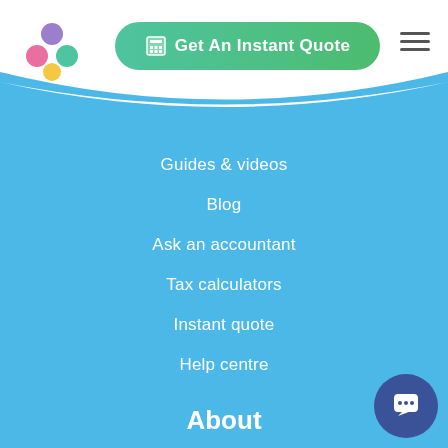[Figure (logo): Colorful circular logo with dots in pink, purple, teal, and yellow]
[Figure (other): Get An Instant Quote green button with calculator icon]
Guides & videos
Blog
Ask an accountant
Tax calculators
Instant quote
Help centre
About
About us
Meet the team
Contact us
Recruitment
Case studies